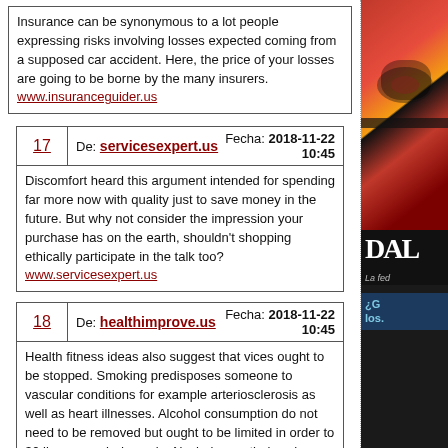Insurance can be synonymous to a lot people expressing risks involving losses expected coming from a supposed car accident. Here, the price of your losses are going to be borne by the many insurers. www.insuranceguider.us
17 | De: servicesexpert.us | Fecha: 2018-11-22 10:45
Discomfort heard this argument intended for spending far more now with quality just to save money in the future. But why not consider the impression your purchase has on the earth, shouldn't shopping ethically participate in the talk too? www.servicesexpert.us
18 | De: healthimprove.us | Fecha: 2018-11-22 10:45
Health fitness ideas also suggest that vices ought to be stopped. Smoking predisposes someone to vascular conditions for example arteriosclerosis as well as heart illnesses. Alcohol consumption do not need to be removed but ought to be limited in order to 30 jiggers each day only. Alcohol nevertheless has many benefits such because vasodilation. These are are just some of